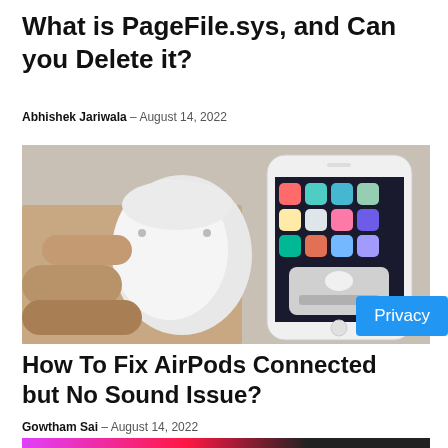What is PageFile.sys, and Can you Delete it?
Abhishek Jariwala – August 14, 2022
[Figure (photo): Hands holding open AirPods case next to an iPhone displaying AirPods pairing screen on a white surface.]
How To Fix AirPods Connected but No Sound Issue?
Gowtham Sai – August 14, 2022